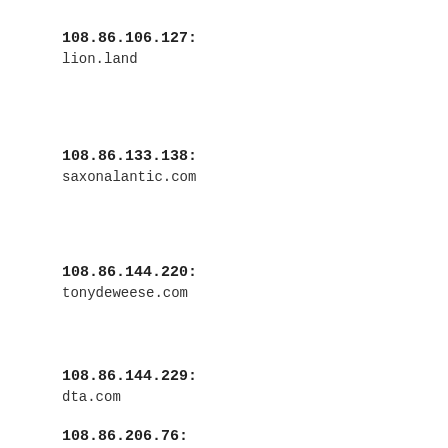108.86.106.127:
lion.land
108.86.133.138:
saxonalantic.com
108.86.144.220:
tonydeweese.com
108.86.144.229:
dta.com
108.86.206.76: